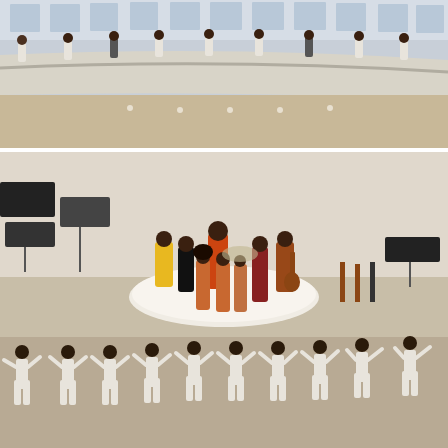[Figure (photo): Interior view of the Guggenheim Museum rotunda showing the curved balcony with multiple people dressed in white and dark clothes standing along the railing, viewed from below]
[Figure (photo): Two-part photograph: upper portion shows a band performing on a circular white stage in a large open interior space, with musicians in colorful outfits (yellow, black, orange, red, brown) surrounded by instruments including keyboards, drums, and guitars; lower portion shows a row of approximately nine dancers in white outfits performing a synchronized crouching pose with their hands raised to their faces, barefoot on the floor]